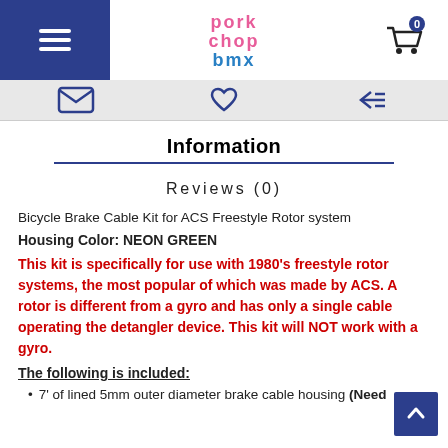Pork Chop BMX - Navigation header with hamburger menu, logo, and cart icon (0 items)
[Figure (screenshot): Sub-navigation icons row: envelope/email icon, wishlist/heart icon, return/back arrow icon]
Information
Reviews (0)
Bicycle Brake Cable Kit for ACS Freestyle Rotor system
Housing Color: NEON GREEN
This kit is specifically for use with 1980's freestyle rotor systems, the most popular of which was made by ACS. A rotor is different from a gyro and has only a single cable operating the detangler device. This kit will NOT work with a gyro.
The following is included:
7' of lined 5mm outer diameter brake cable housing (Need